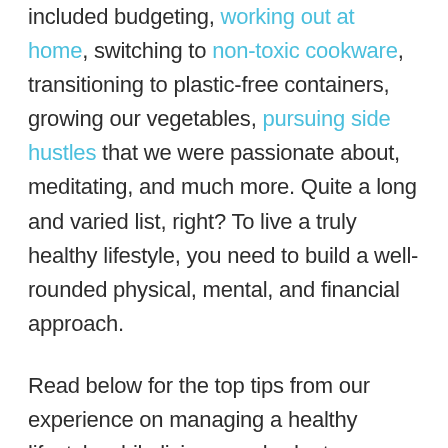included budgeting, working out at home, switching to non-toxic cookware, transitioning to plastic-free containers, growing our vegetables, pursuing side hustles that we were passionate about, meditating, and much more. Quite a long and varied list, right? To live a truly healthy lifestyle, you need to build a well-rounded physical, mental, and financial approach.
Read below for the top tips from our experience on managing a healthy lifestyle while living on a budget.